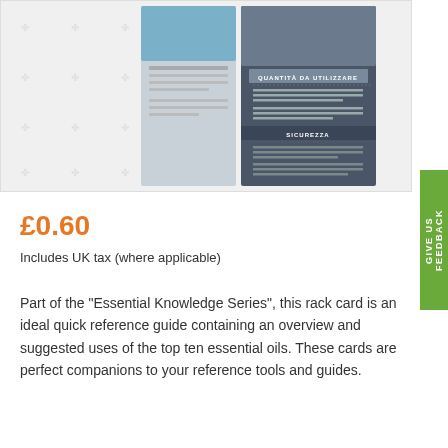[Figure (screenshot): Screenshot of a product rack card showing Italian text sections including 'QUANTITÀ DA UTILIZZARE' and 'SICUREZZA' on a dark background, with a lighter colored card visible on the left side. Watermark pattern of small icons visible in background.]
£0.60
Includes UK tax (where applicable)
Part of the "Essential Knowledge Series", this rack card is an ideal quick reference guide containing an overview and suggested uses of the top ten essential oils. These cards are perfect companions to your reference tools and guides.